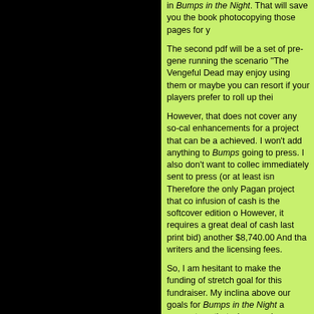in Bumps in the Night. That will save you the book photocopying those pages for y

The second pdf will be a set of pre-gene running the scenario "The Vengeful Dead may enjoy using them or maybe you can resort if your players prefer to roll up thei

However, that does not cover any so-call enhancements for a project that can be a achieved. I won't add anything to Bumps going to press. I also don't want to collec immediately sent to press (or at least isn Therefore the only Pagan project that co infusion of cash is the softcover edition o However, it requires a great deal of cash last print bid) another $8,740.00 And tha writers and the licensing fees.

So, I am hesitant to make the funding of stretch goal for this fundraiser. My inclina above our goals for Bumps in the Night a account, so that when we do a fundraise soon after this Kickstarter ends, then we' raise. I feel this would be less confused a rewards that are tailored for a Delta Gree

Nevertheless, none of this would be poss backers. So I am certainly willing to ente you prefer a separate Kickstarter or wou momentum of this one and build it to a tw in any suggestions you folks might have interested in. Certainly there are playtest other Pagan Publishing books that could in the Night. None of these possibilities w